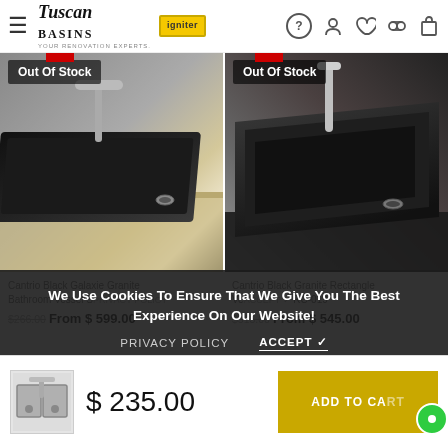Tuscan Basins | Igniter — navigation header with hamburger menu, logo, and icons
[Figure (photo): Left product photo: black rectangular basin/vessel sink (Out Of Stock) on a countertop with chrome faucet]
[Figure (photo): Right product photo: black granite rectangle vessel sink (Out Of Stock) on dark countertop]
We Use Cookies To Ensure That We Give You The Best Experience On Our Website!
PRIVACY POLICY    ACCEPT ✓
Cantrio Black Galaxie Granite Bathroom Vessel Sink... $266.00 From $ 599.00
Cantrio Black Granite Rectangle Vessel... RC-019 $515.00 From $ 545.00
[Figure (photo): Small thumbnail of stainless steel double sink]
$ 235.00
ADD TO CART